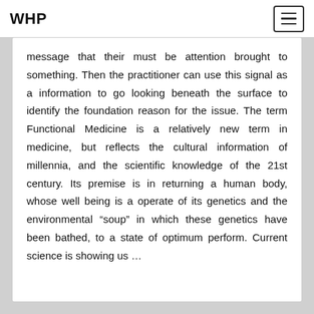WHP
message that their must be attention brought to something. Then the practitioner can use this signal as a information to go looking beneath the surface to identify the foundation reason for the issue. The term Functional Medicine is a relatively new term in medicine, but reflects the cultural information of millennia, and the scientific knowledge of the 21st century. Its premise is in returning a human body, whose well being is a operate of its genetics and the environmental “soup” in which these genetics have been bathed, to a state of optimum perform. Current science is showing us …